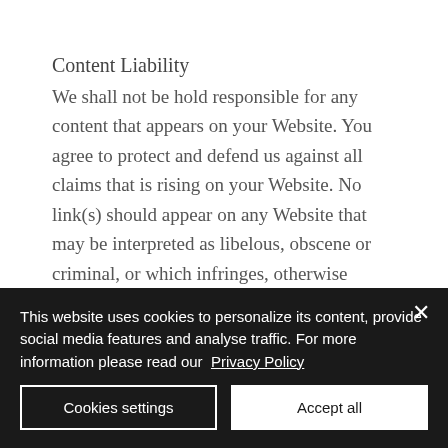Content Liability
We shall not be hold responsible for any content that appears on your Website. You agree to protect and defend us against all claims that is rising on your Website. No link(s) should appear on any Website that may be interpreted as libelous, obscene or criminal, or which infringes, otherwise violates, or advocates the infringement or other violation of, any third party rights.
Your Privacy
This website uses cookies to personalize its content, provide social media features and analyse traffic. For more information please read our Privacy Policy
Cookies settings
Accept all